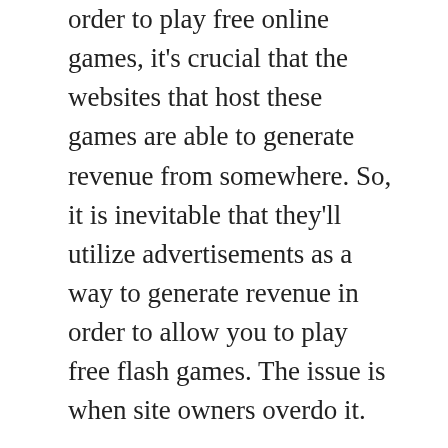order to play free online games, it's crucial that the websites that host these games are able to generate revenue from somewhere. So, it is inevitable that they'll utilize advertisements as a way to generate revenue in order to allow you to play free flash games. The issue is when site owners overdo it.
Another thing to look for is sites where they claim to host games, when the only thing they have are Trojans as well as viruses. When you click any game on the internet to play it, you should take the time to research that site by looking at the opinions of other players who have comment on it. A great method to do this is by searching through the various forums that deal with online gaming in general. Also, pay attention to your antivirus program, because frequently they will alert you to a website that has malicious code incorporated into it. After you've got all this done and dusted after which you'll be free to